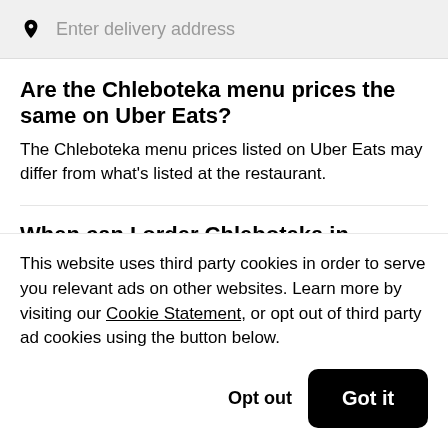Enter delivery address
Are the Chleboteka menu prices the same on Uber Eats?
The Chleboteka menu prices listed on Uber Eats may differ from what's listed at the restaurant.
When can I order Chleboteka in Wroclaw?
This website uses third party cookies in order to serve you relevant ads on other websites. Learn more by visiting our Cookie Statement, or opt out of third party ad cookies using the button below.